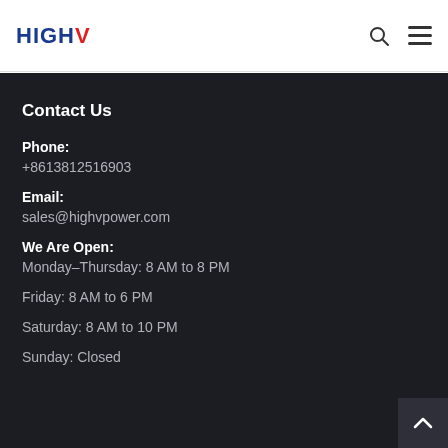HIGHV
Contact Us
Phone:
+8613812516903
Email:
sales@highvpower.com
We Are Open:
Monday–Thursday: 8 AM to 8 PM
Friday: 8 AM to 6 PM
Saturday: 8 AM to 10 PM
Sunday: Closed